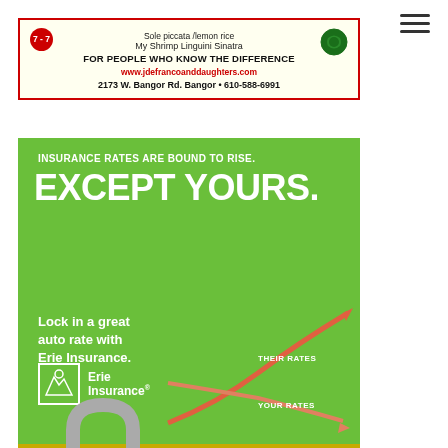[Figure (illustration): Hamburger menu icon (three horizontal lines) in top right corner]
[Figure (infographic): Top advertisement for J De Franco and Daughters restaurant. Cream/ivory background with red border. Shows '7-7', 'Sole piccata /lemon rice', 'My Shrimp Linguini Sinatra', 'FOR PEOPLE WHO KNOW THE DIFFERENCE', 'www.jdefrancoanddaughters.com', '2173 W. Bangor Rd. Bangor • 610-588-6991']
[Figure (infographic): Erie Insurance advertisement with green background. Text: 'INSURANCE RATES ARE BOUND TO RISE. EXCEPT YOURS. Lock in a great auto rate with Erie Insurance.' Shows two lines on chart: THEIR RATES going up, YOUR RATES going down. Erie Insurance logo at bottom left. Yellow bar across bottom.]
[Figure (illustration): Erie Rate Lock padlock logo - a silver padlock with 'ERIE RATE LOCK' text on its body, partially visible at bottom of page]